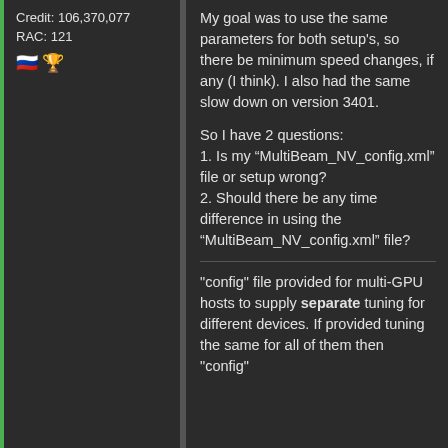Credit: 106,370,077
RAC: 121
[Figure (illustration): Russian flag emoji and trophy/medal emoji icons]
My goal was to use the same parameters for both setup's, so there be minimum speed changes, if any (I think). I also had the same slow down on version 3401.
So I have 2 questions:
1. Is my “MultiBeam_NV_config.xml” file or setup wrong?
2. Should there be any time difference in using the “MultiBeam_NV_config.xml” file?
"config" file provided for multi-GPU hosts to supply separate tuning for different devices. If provided tuning the same for all of them then "config"